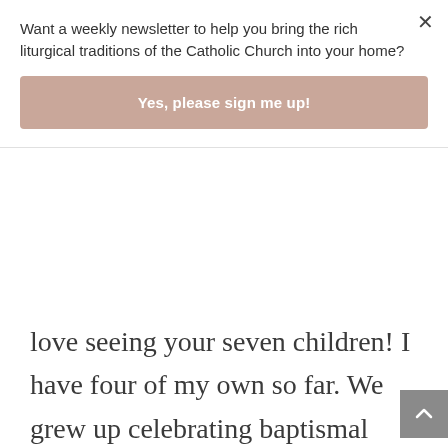Want a weekly newsletter to help you bring the rich liturgical traditions of the Catholic Church into your home?
Yes, please sign me up!
love seeing your seven children! I have four of my own so far. We grew up celebrating baptismal days with a special dinner and also honoring one another for the ways we saw them striving for holiness. Being loving, hard working, a good friend etc. We still do it now even though we are